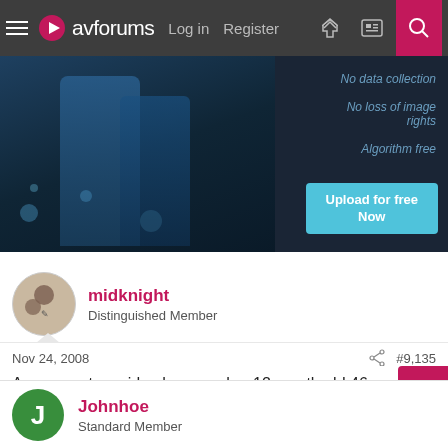avforums — Log in | Register
[Figure (photo): Advertisement banner with dark blue background showing person's legs, with text: No data collection, No loss of image rights, Algorithm free, and Upload for free Now button]
midknight
Distinguished Member
Nov 24, 2008 #9,135
Anyone got any idea how much a 12 month old 46 X3500 with 2 year warranty outstanding is worth? Not boxed but been in a non smoking household and is in mint condition.
Johnhoe
Standard Member